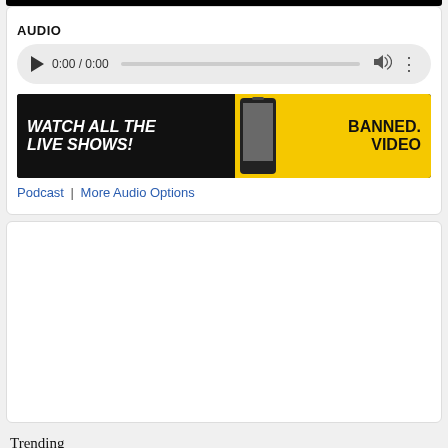AUDIO
[Figure (screenshot): Audio player with play button, time 0:00 / 0:00, progress bar, volume icon, and options dots]
[Figure (illustration): Banner advertisement: 'WATCH ALL THE LIVE SHOWS!' on black background with phone graphic, 'BANNED. VIDEO' on yellow background]
Podcast | More Audio Options
Trending